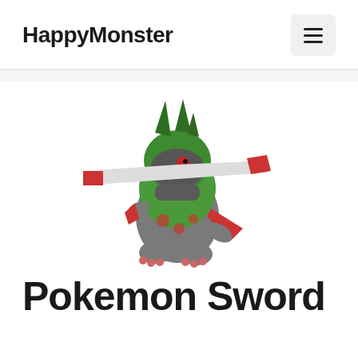HappyMonster
[Figure (illustration): A Pokémon character illustration — a bipedal green and gray lizard-like creature with large blade-like appendages on its head and a pointed tail, standing in a fighting pose. The Pokémon has a green upper body with dark markings, a gray lower body with red spots, and red-tipped limbs.]
Pokemon Sword